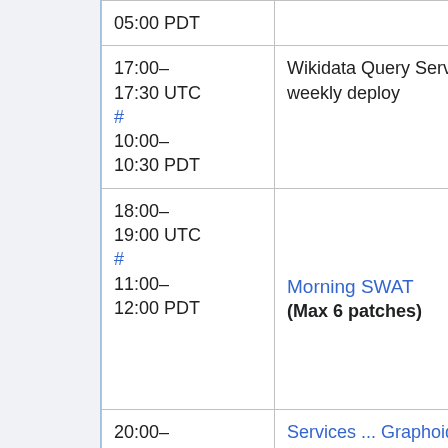| Time | Event | Person |
| --- | --- | --- |
| 05:00 PDT |  | Martin |
| 17:00–17:30 UTC # 10:00–10:30 PDT | Wikidata Query Service weekly deploy | Guillaume Mathew (onimi |
| 18:00–19:00 UTC # 11:00–12:00 PDT | Morning SWAT (Max 6 patches) | Roan (RoanK Niharik (Nihar (Urban |
| 20:00–21:00 UTC | Services ... Graphoid | Aaron |